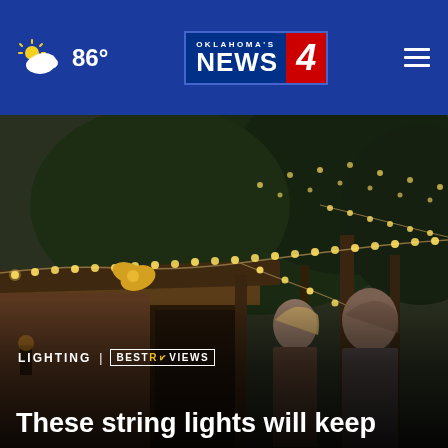86° | Oklahoma's News 4
[Figure (photo): Two people standing outdoors in a backyard or patio area decorated with warm string lights draped along a roofline and across trees in the background, taken at dusk/evening]
LIGHTING | BESTREVIEWS
These string lights will keep